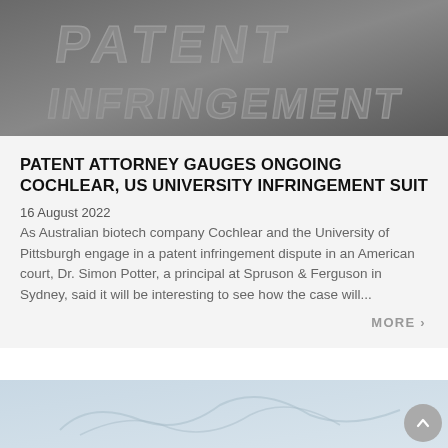[Figure (photo): Dark grey background image with embossed text reading PATENT INFRINGEMENT]
PATENT ATTORNEY GAUGES ONGOING COCHLEAR, US UNIVERSITY INFRINGEMENT SUIT
16 August 2022
As Australian biotech company Cochlear and the University of Pittsburgh engage in a patent infringement dispute in an American court, Dr. Simon Potter, a principal at Spruson & Ferguson in Sydney, said it will be interesting to see how the case will...
MORE >
[Figure (photo): Partially visible light blue/grey image at the bottom of the page, appears to show a document or signature]